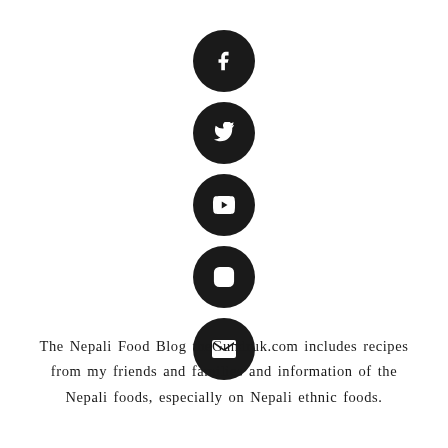[Figure (infographic): Five black circular social media icons arranged vertically: Facebook (f), Twitter (bird), YouTube (play button), Instagram (camera), and Email (envelope)]
The Nepali Food Blog theGundruk.com includes recipes from my friends and families and information of the Nepali foods, especially on Nepali ethnic foods.